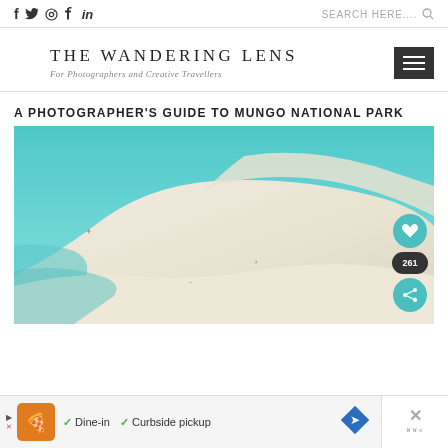Social icons: f, Twitter, Instagram, P, in | SEARCH HERE....
THE WANDERING LENS
For Photographers and Creative Travellers
A PHOTOGRAPHER'S GUIDE TO MUNGO NATIONAL PARK
[Figure (photo): Aerial photograph of turquoise water and white sand formations at Mungo National Park, with tiny birds visible. Social sharing buttons (heart icon, 261, share icon) overlaid on the right side.]
Dine-in  Curbside pickup (advertisement bar)